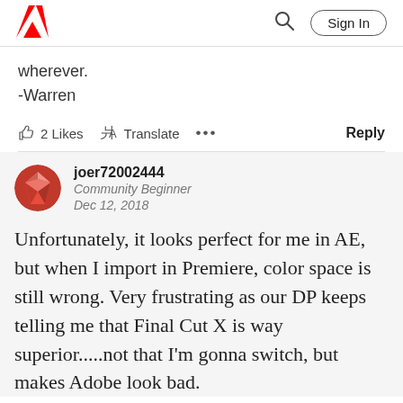Adobe community page header with logo, search icon, and Sign In button
wherever.
-Warren
👍 2 Likes  🔤 Translate  ...    Reply
joer72002444
Community Beginner
Dec 12, 2018
Unfortunately, it looks perfect for me in AE, but when I import in Premiere, color space is still wrong. Very frustrating as our DP keeps telling me that Final Cut X is way superior.....not that I'm gonna switch, but makes Adobe look bad.